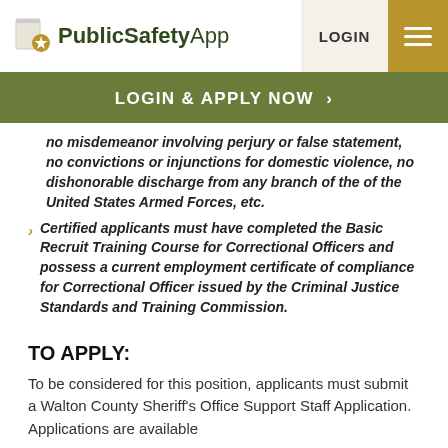PublicSafetyApp | LOGIN
LOGIN & APPLY NOW >
no misdemeanor involving perjury or false statement, no convictions or injunctions for domestic violence, no dishonorable discharge from any branch of the of the United States Armed Forces, etc.
Certified applicants must have completed the Basic Recruit Training Course for Correctional Officers and possess a current employment certificate of compliance for Correctional Officer issued by the Criminal Justice Standards and Training Commission.
TO APPLY:
To be considered for this position, applicants must submit a Walton County Sheriff's Office Support Staff Application. Applications are available